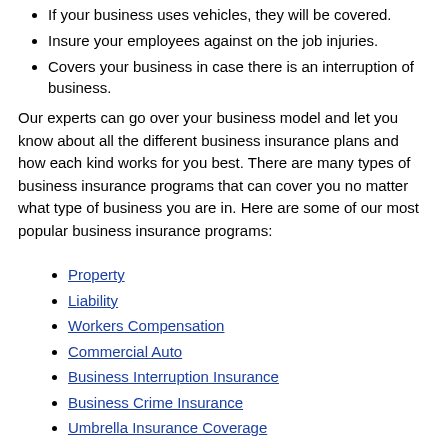If your business uses vehicles, they will be covered.
Insure your employees against on the job injuries.
Covers your business in case there is an interruption of business.
Our experts can go over your business model and let you know about all the different business insurance plans and how each kind works for you best. There are many types of business insurance programs that can cover you no matter what type of business you are in. Here are some of our most popular business insurance programs:
Property
Liability
Workers Compensation
Commercial Auto
Business Interruption Insurance
Business Crime Insurance
Umbrella Insurance Coverage
If you don't see something that fits your business model, contact us today for a custom business insurance plan that fits your business.